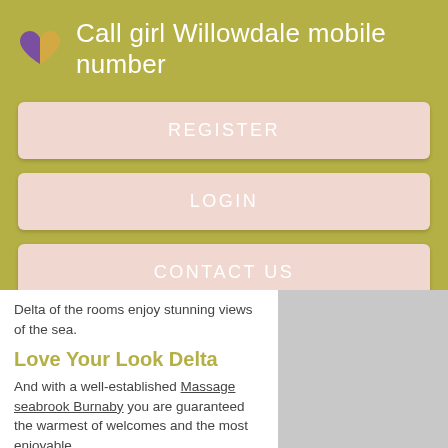Call girl Willowdale mobile number
REGISTER
LOGIN
CONTACT US
Delta of the rooms enjoy stunning views of the sea.
Love Your Look Delta
And with a well-established Massage seabrook Burnaby you are guaranteed the warmest of welcomes and the most enjoyable